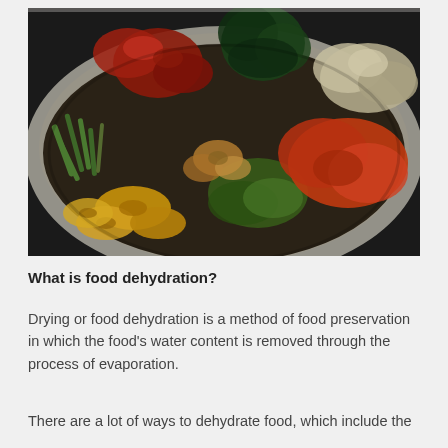[Figure (photo): A plate filled with various dehydrated and dried foods including dried vegetables (okra, green beans), dried fruits, dried tomatoes, kale chips, and other dehydrated produce arranged together on a white plate, photographed from above at an angle.]
What is food dehydration?
Drying or food dehydration is a method of food preservation in which the food's water content is removed through the process of evaporation.
There are a lot of ways to dehydrate food, which include the